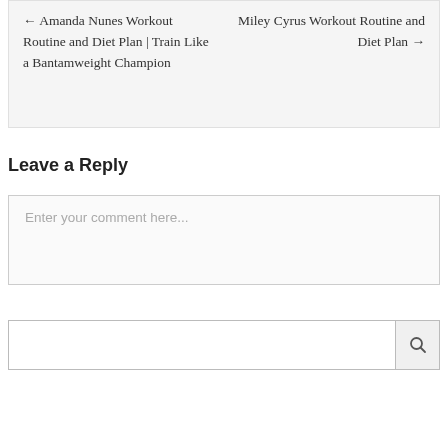← Amanda Nunes Workout Routine and Diet Plan | Train Like a Bantamweight Champion
Miley Cyrus Workout Routine and Diet Plan →
Leave a Reply
Enter your comment here...
[Figure (other): Search box with a search icon button on the right]